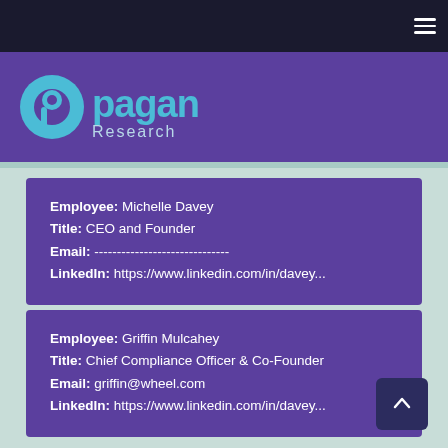Pagan Research
Employee: Michelle Davey
Title: CEO and Founder
Email: ------------------------------
LinkedIn: https://www.linkedin.com/in/davey...
Employee: Griffin Mulcahey
Title: Chief Compliance Officer & Co-Founder
Email: griffin@wheel.com
LinkedIn: https://www.linkedin.com/in/davey...